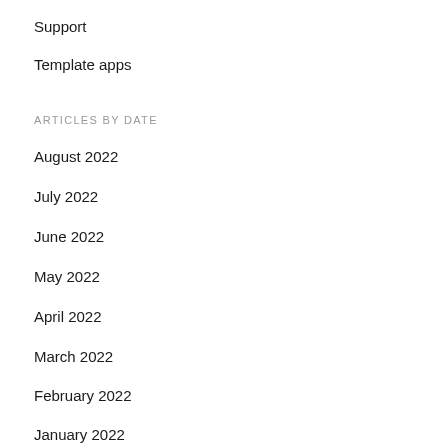Support
Template apps
ARTICLES BY DATE
August 2022
July 2022
June 2022
May 2022
April 2022
March 2022
February 2022
January 2022
December 2021
November 2021